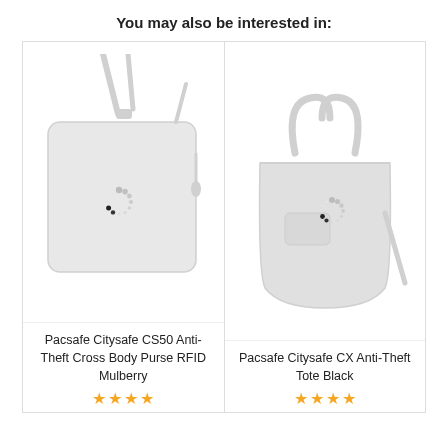You may also be interested in:
[Figure (photo): Product image placeholder with loading spinner for Pacsafe Citysafe CS50 Anti-Theft Cross Body Purse RFID Mulberry — crossbody bag outline in light gray]
Pacsafe Citysafe CS50 Anti-Theft Cross Body Purse RFID Mulberry
[Figure (photo): Product image placeholder with loading spinner for Pacsafe Citysafe CX Anti-Theft Tote Black — tote bag outline in light gray]
Pacsafe Citysafe CX Anti-Theft Tote Black